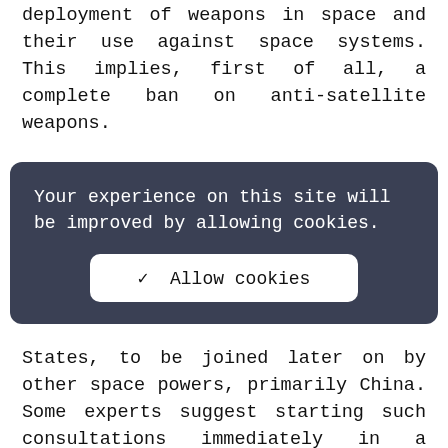deployment of weapons in space and their use against space systems. This implies, first of all, a complete ban on anti-satellite weapons.
Your experience on this site will be improved by allowing cookies.
Allow cookies
States, to be joined later on by other space powers, primarily China. Some experts suggest starting such consultations immediately in a tripartite or even multilateral format.
Non-Strategic nuclear weapons
As is well known, the United States has proposed to address the issue of non-strategic